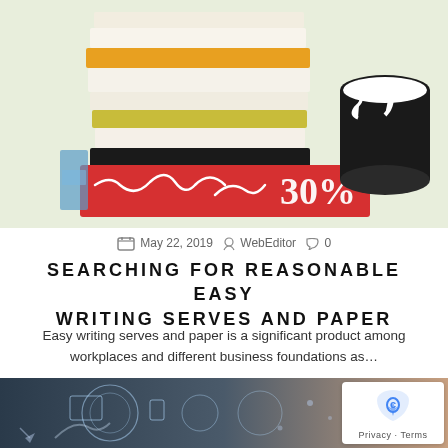[Figure (illustration): Illustration of a stack of colorful books with a red banner showing '30%' and a cursive signature, set against a light green background. A black and white cylindrical object is on the right.]
May 22, 2019  WebEditor  0
SEARCHING FOR REASONABLE EASY WRITING SERVES AND PAPER
Easy writing serves and paper is a significant product among workplaces and different business foundations as…
[Figure (photo): Photo of hands using a tablet with digital holographic icons overlaid, representing technology and digital connectivity, with a blurred background of a person in a white coat.]